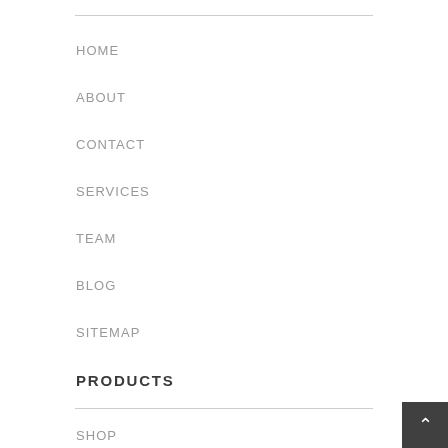HOME
ABOUT
CONTACT
SERVICES
TEAM
BLOG
SITEMAP
PRODUCTS
SHOP